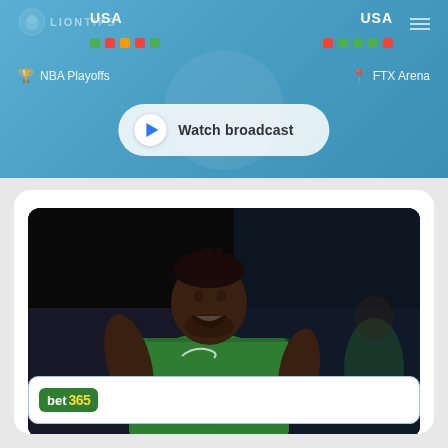[Figure (screenshot): Sports betting app screenshot showing NBA Playoffs game between USA teams at FTX Arena, with LIONTIPS branding, colored form dots, and a Watch broadcast button on a blue background]
[Figure (photo): Boston Celtics player wearing green jersey number 7 (Jaylen Brown) celebrating with mouth open, on a dark basketball arena background]
[Figure (logo): Bet365 green logo at the bottom of the page inside a blue-bordered card]